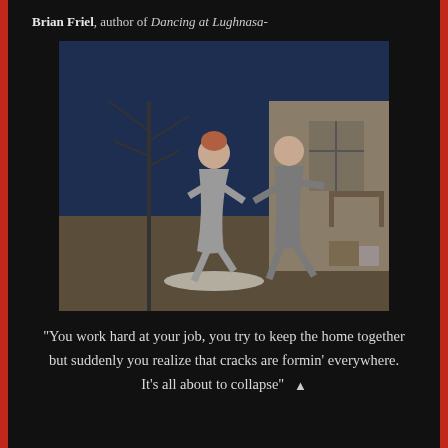Brian Friel, author of Dancing at Lughnasa-
[Figure (photo): Theatre production photo showing a man and woman dancing on stage, woman in grey dress with reddish hair, man in grey suit, on a rustic stage set with bare trees and a cottage interior background.]
“You work hard at your job, you try to keep the home together but suddenly you realize that cracks are formin’ everywhere. It’s all about to collapse” ▲